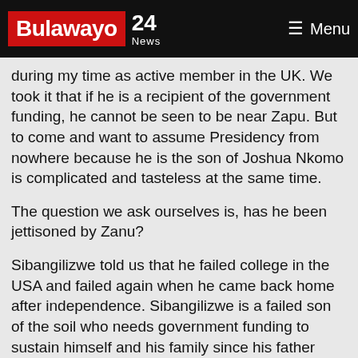Bulawayo 24 News — Menu
during my time as active member in the UK. We took it that if he is a recipient of the government funding, he cannot be seen to be near Zapu. But to come and want to assume Presidency from nowhere because he is the son of Joshua Nkomo is complicated and tasteless at the same time.
The question we ask ourselves is, has he been jettisoned by Zanu?
Sibangilizwe told us that he failed college in the USA and failed again when he came back home after independence. Sibangilizwe is a failed son of the soil who needs government funding to sustain himself and his family since his father played such a pivotal role in the struggle for independence of this great country. How does a failed person with no academics to lean on in today's world that glorifies education want to lead a political party? Is he
Bulawayo24.com uses cookies to ensure you get the best experience on our website
Got it!